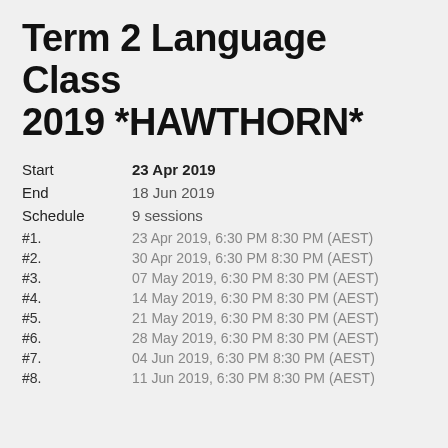Term 2 Language Class 2019 *HAWTHORN*
Start    23 Apr 2019
End    18 Jun 2019
Schedule    9 sessions
#1.    23 Apr 2019, 6:30 PM 8:30 PM (AEST)
#2.    30 Apr 2019, 6:30 PM 8:30 PM (AEST)
#3.    07 May 2019, 6:30 PM 8:30 PM (AEST)
#4.    14 May 2019, 6:30 PM 8:30 PM (AEST)
#5.    21 May 2019, 6:30 PM 8:30 PM (AEST)
#6.    28 May 2019, 6:30 PM 8:30 PM (AEST)
#7.    04 Jun 2019, 6:30 PM 8:30 PM (AEST)
#8.    11 Jun 2019, 6:30 PM 8:30 PM (AEST)